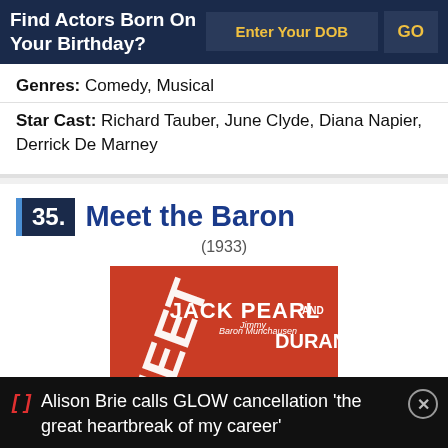Find Actors Born On Your Birthday? | Enter Your DOB | GO
Genres: Comedy, Musical
Star Cast: Richard Tauber, June Clyde, Diana Napier, Derrick De Marney
35. Meet the Baron (1933)
[Figure (photo): Movie poster for Meet the Baron (1933) showing Jack Pearl and Jimmy Durante against a red background]
Alison Brie calls GLOW cancellation 'the great heartbreak of my career'